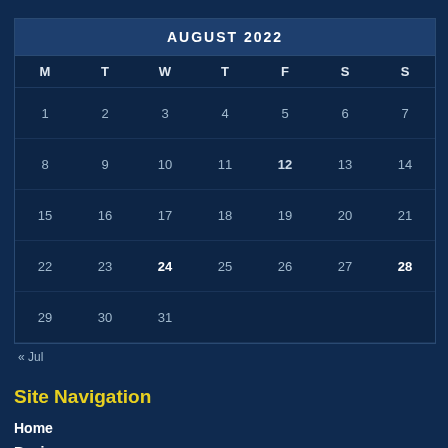| M | T | W | T | F | S | S |
| --- | --- | --- | --- | --- | --- | --- |
| 1 | 2 | 3 | 4 | 5 | 6 | 7 |
| 8 | 9 | 10 | 11 | 12 | 13 | 14 |
| 15 | 16 | 17 | 18 | 19 | 20 | 21 |
| 22 | 23 | 24 | 25 | 26 | 27 | 28 |
| 29 | 30 | 31 |  |  |  |  |
« Jul
Site Navigation
Home
Business